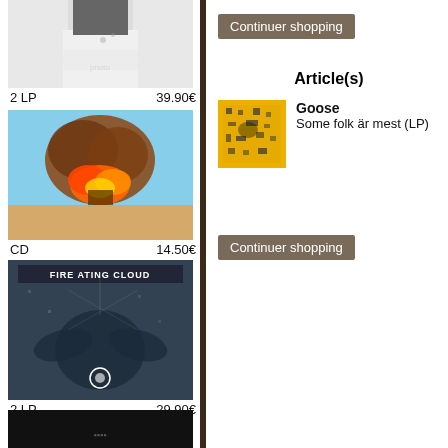[Figure (photo): Album cover 1: person in white clothing, cropped at top]
2 LP    39.90€
[Figure (photo): Album cover 2: explosion fireball against blue sky]
CD    14.50€
[Figure (photo): Album cover 3: Fire Ating Cloud - pixelated bird/creature artwork]
2 LP    29.90€
[Figure (photo): Album cover 4: dark/black cover, partially visible]
Continuer shopping
Article(s)
[Figure (photo): Small album thumbnail: yellow/orange pixelated artwork for Goose - Some folk är mest (LP)]
Goose
Some folk är mest (LP)
Continuer shopping